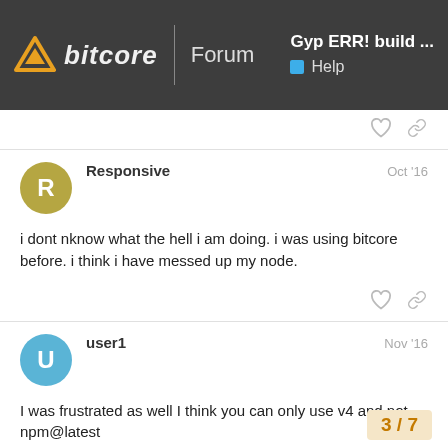bitcore Forum | Gyp ERR! build ... Help
i dont nknow what the hell i am doing. i was using bitcore before. i think i have messed up my node.
I was frustrated as well I think you can only use v4 and not npm@latest
nvm install v4
I can't remember the command but it told t
3 / 7